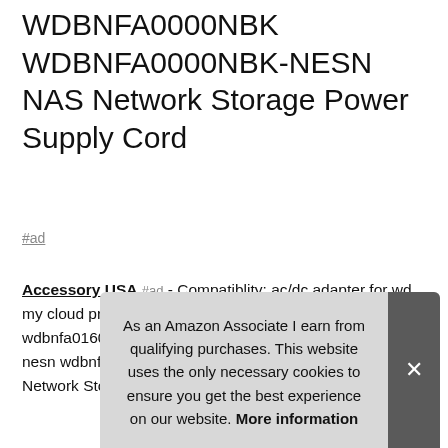WDBNFA0000NBK WDBNFA0000NBK-NESN NAS Network Storage Power Supply Cord
#ad
Accessory USA #ad - Compatiblity: ac/dc adapter for wd my cloud pr4100 pro series wdbnfa0160kbk wdbnfa0160kbk-nesn wdbnfa0080kbk wdbnfa0080kbk-nesn wdbnfa0000nbk wdBNFA0000NBK-NESN NAS Network Storage Power Supply Cord
As an Amazon Associate I earn from qualifying purchases. This website uses the only necessary cookies to ensure you get the best experience on our website. More information
Safety: our products are ce / fcc / rohs certified, tested by the